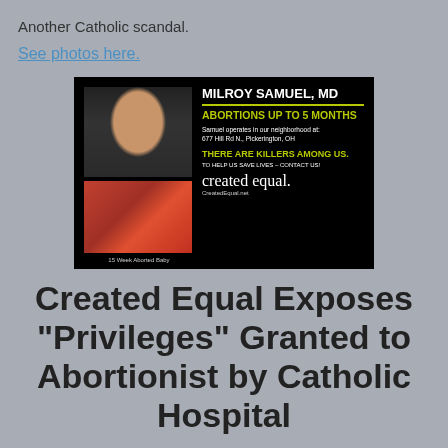Another Catholic scandal.
See photos here.
[Figure (photo): Advertisement flyer from Created Equal showing Dr. Milroy Samuel MD, stating abortions up to 5 months at 677 Hill Rd N., Pickerington, OH, with image of aborted baby and text 'There are killers among us. To help us save lives – contact us!' and CreatedEqual.net]
Created Equal Exposes "Privileges" Granted to Abortionist by Catholic Hospital